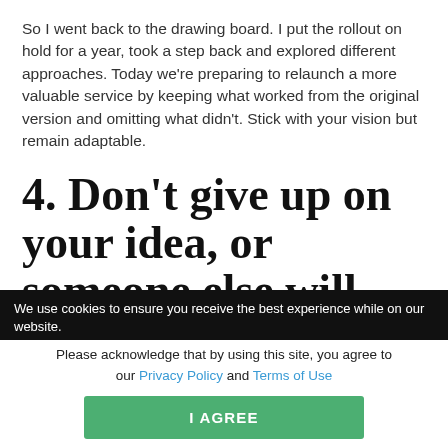So I went back to the drawing board. I put the rollout on hold for a year, took a step back and explored different approaches. Today we're preparing to relaunch a more valuable service by keeping what worked from the original version and omitting what didn't. Stick with your vision but remain adaptable.
4. Don't give up on your idea, or someone else will
We use cookies to ensure you receive the best experience while on our website.
Please acknowledge that by using this site, you agree to our Privacy Policy and Terms of Use
I AGREE